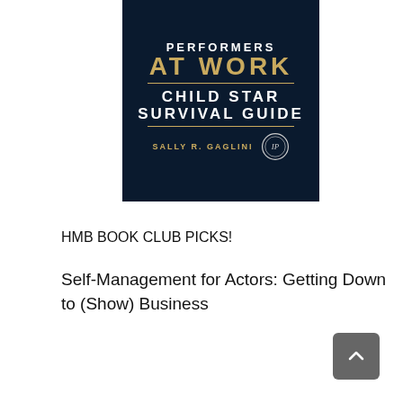[Figure (illustration): Book cover of 'Performers at Work: Child Star Survival Guide' by Sally R. Gaglini, dark blue background with gold and white text, IP award seal]
HMB BOOK CLUB PICKS!
Self-Management for Actors: Getting Down to (Show) Business
[Figure (illustration): Book cover of 'Self-Management for Actors' Fourth Edition, gold/brown background with white text]